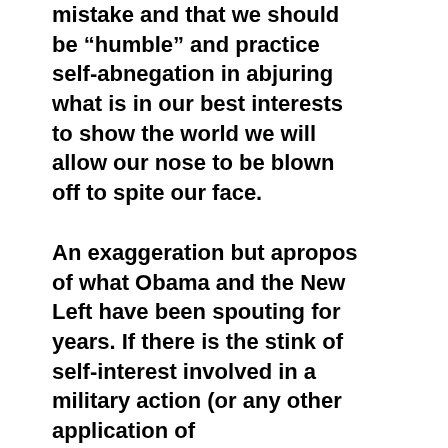mistake and that we should be “humble” and practice self-abnegation in abjuring what is in our best interests to show the world we will allow our nose to be blown off to spite our face.
An exaggeration but apropos of what Obama and the New Left have been spouting for years. If there is the stink of self-interest involved in a military action (or any other application of